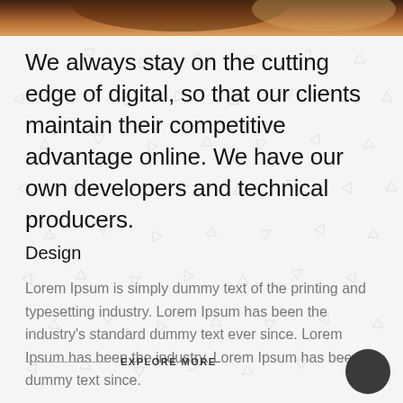[Figure (photo): Top strip showing a photograph of a person, partially cropped, warm orange/brown tones]
We always stay on the cutting edge of digital, so that our clients maintain their competitive advantage online. We have our own developers and technical producers.
Design
Lorem Ipsum is simply dummy text of the printing and typesetting industry. Lorem Ipsum has been the industry's standard dummy text ever since. Lorem Ipsum has been the industry. Lorem Ipsum has been dummy text since.
EXPLORE MORE